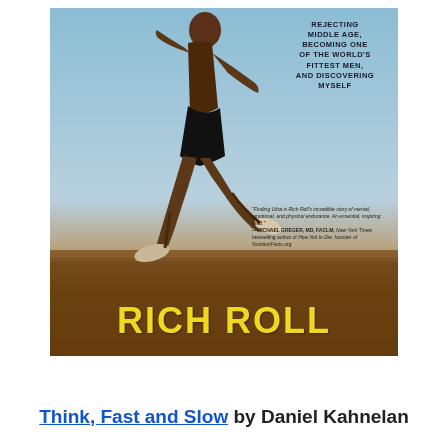[Figure (photo): Book cover of 'Finding Ultra' by Rich Roll. Shows a muscular shirtless man running against a blue sky background. The cover includes the subtitle 'Rejecting Middle Age, Becoming One of the World's Fittest Men, and Discovering Myself', a quote from Michael Greger MD FACLM, and the author name RICH ROLL in large yellow letters at the bottom on a brown/motion-blurred background strip.]
Think, Fast and Slow by Daniel Kahnelan